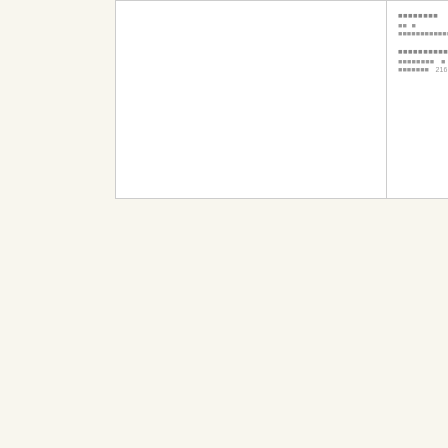■■■■■■■■ ■■ ■ ■■■■■■■■■■■■■■■■■■■■■ 312■319.(2006)
■■■■■■■■■■■■■■ ■■■■■■■■ ■ ■■■■■■■ 216:4033■4039. (2006)